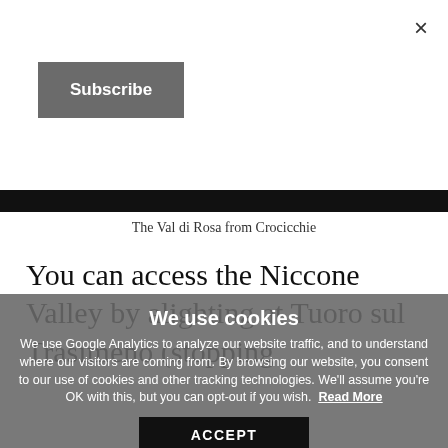×
Subscribe
[Figure (photo): Landscape photo showing the Val di Rosa from Crocicchie, rendered as a dark/black horizontal bar]
The Val di Rosa from Crocicchie
You can access the Niccone Valley by alighting at Tuoro sul Trasimeno (stopping
We use cookies
We use Google Analytics to analyze our website traffic, and to understand where our visitors are coming from. By browsing our website, you consent to our use of cookies and other tracking technologies. We'll assume you're OK with this, but you can opt-out if you wish.
Read More
ACCEPT